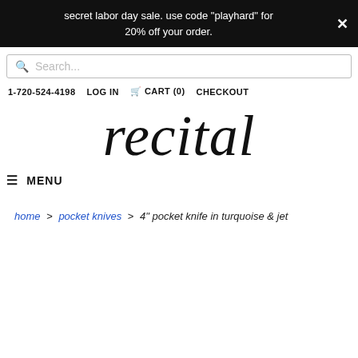secret labor day sale. use code "playhard" for 20% off your order.
Search...
1-720-524-4198   LOG IN   CART (0)   CHECKOUT
recital
≡ MENU
home > pocket knives > 4" pocket knife in turquoise & jet